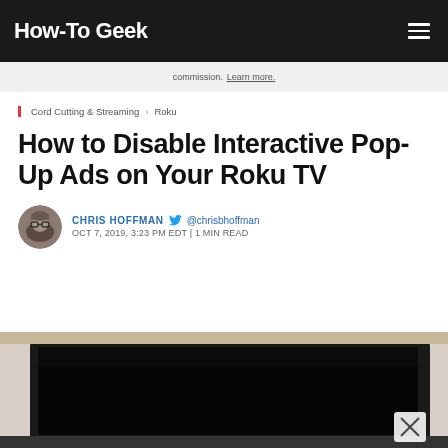How-To Geek
commission. Learn more.
Cord Cutting & Streaming › Roku
How to Disable Interactive Pop-Up Ads on Your Roku TV
CHRIS HOFFMAN @chrisbhoffman OCT 7, 2019, 3:23 PM EDT | 1 MIN READ
[Figure (photo): A Roku TV displaying a dark/black screen, photo taken at an angle showing the TV in a room setting. A close (X) button overlay is visible in the bottom right corner.]